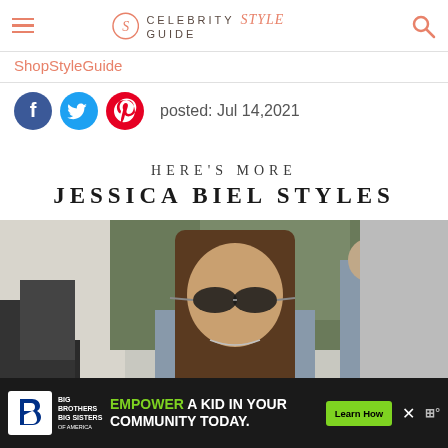Celebrity Style Guide
ShopStyleGuide
posted: Jul 14,2021
HERE'S MORE
JESSICA BIEL STYLES
[Figure (photo): Photo of Jessica Biel wearing sunglasses and a grey outfit, shown from mid-torso up, outdoors with blurred background]
[Figure (infographic): Advertisement banner: Big Brothers Big Sisters of America. Text: EMPOWER A KID IN YOUR COMMUNITY TODAY. Button: Learn How]